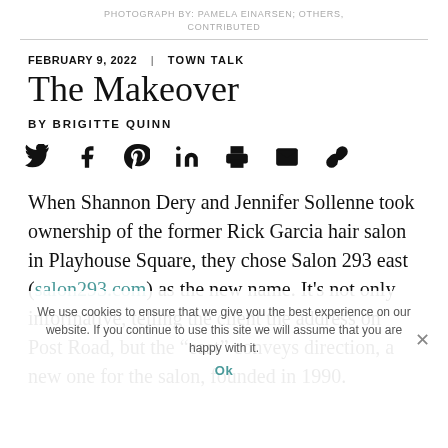PHOTOGRAPH BY: PAMELA EINARSEN; OTHERS, CONTRIBUTED
FEBRUARY 9, 2022  |  TOWN TALK
The Makeover
BY BRIGITTE QUINN
[Figure (infographic): Social sharing icons: Twitter, Facebook, Pinterest, LinkedIn, Print, Email, Link]
When Shannon Dery and Jennifer Sollenne took ownership of the former Rick Garcia hair salon in Playhouse Square, they chose Salon 293 east (salon293.com) as the new name. It's not only informative, telling the client the address on Post Road, but the "east" conveys direction, a new one for the salon, founded in 1990.